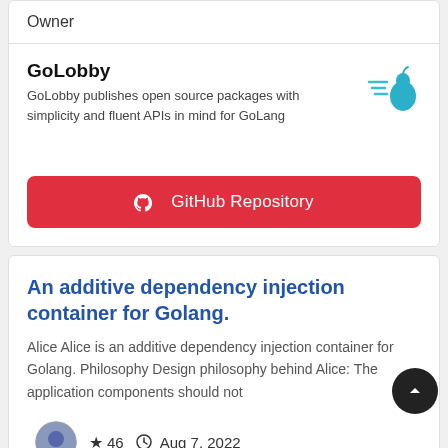Owner
GoLobby
GoLobby publishes open source packages with simplicity and fluent APIs in mind for GoLang
[Figure (logo): GoLobby teal pear logo with speed lines]
⊙ GitHub Repository
An additive dependency injection container for Golang.
Alice Alice is an additive dependency injection container for Golang. Philosophy Design philosophy behind Alice: The application components should not
[Figure (photo): Avatar thumbnail, circular portrait]
★ 46   ⊙ Aug 7, 2022